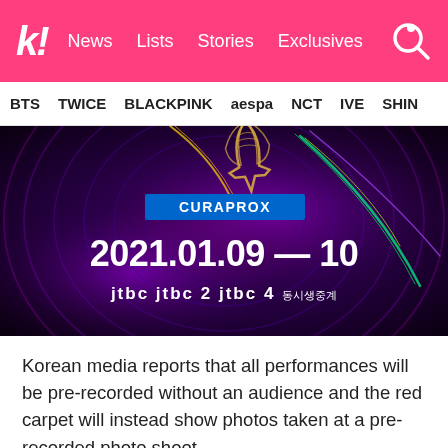k! News Lists Stories Exclusives
BTS TWICE BLACKPINK aespa NCT IVE SHIN
[Figure (photo): Dark event poster with swirling purple/violet abstract background, golden award trophy graphic, CURAPROX sponsor banner, date 2021.01.09 — 10, and JTBC JTBC2 JTBC4 logos with Korean text]
Korean media reports that all performances will be pre-recorded without an audience and the red carpet will instead show photos taken at a pre-recorded photo shoot.